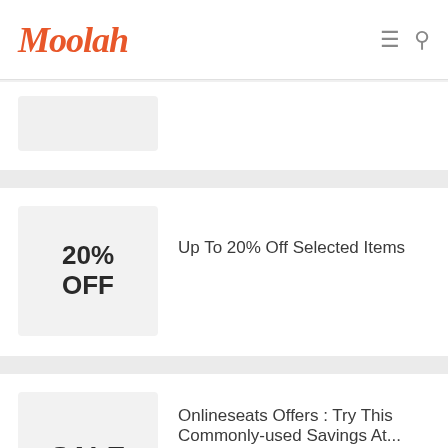Moolah
[Figure (screenshot): Partial card with grey thumbnail placeholder]
20% OFF
Up To 20% Off Selected Items
SALE
Onlineseats Offers : Try This Commonly-used Savings At...